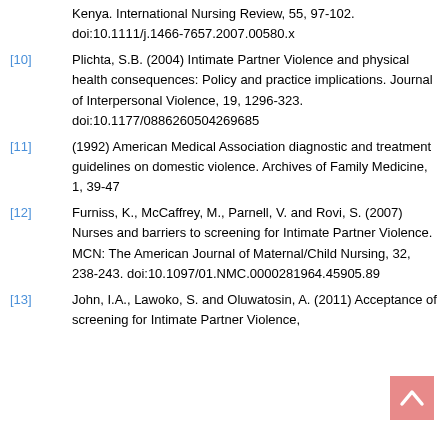Kenya. International Nursing Review, 55, 97-102. doi:10.1111/j.1466-7657.2007.00580.x
[10] Plichta, S.B. (2004) Intimate Partner Violence and physical health consequences: Policy and practice implications. Journal of Interpersonal Violence, 19, 1296-323. doi:10.1177/0886260504269685
[11] (1992) American Medical Association diagnostic and treatment guidelines on domestic violence. Archives of Family Medicine, 1, 39-47
[12] Furniss, K., McCaffrey, M., Parnell, V. and Rovi, S. (2007) Nurses and barriers to screening for Intimate Partner Violence. MCN: The American Journal of Maternal/Child Nursing, 32, 238-243. doi:10.1097/01.NMC.0000281964.45905.89
[13] John, I.A., Lawoko, S. and Oluwatosin, A. (2011) Acceptance of screening for Intimate Partner Violence,